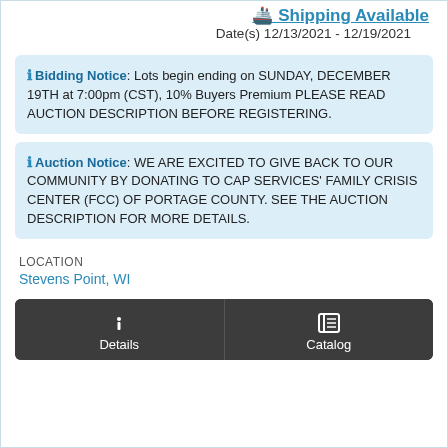Shipping Available
Date(s) 12/13/2021 - 12/19/2021
Bidding Notice: Lots begin ending on SUNDAY, DECEMBER 19TH at 7:00pm (CST), 10% Buyers Premium PLEASE READ AUCTION DESCRIPTION BEFORE REGISTERING.
Auction Notice: WE ARE EXCITED TO GIVE BACK TO OUR COMMUNITY BY DONATING TO CAP SERVICES' FAMILY CRISIS CENTER (FCC) OF PORTAGE COUNTY. SEE THE AUCTION DESCRIPTION FOR MORE DETAILS.
LOCATION
Stevens Point, WI
Details
Catalog